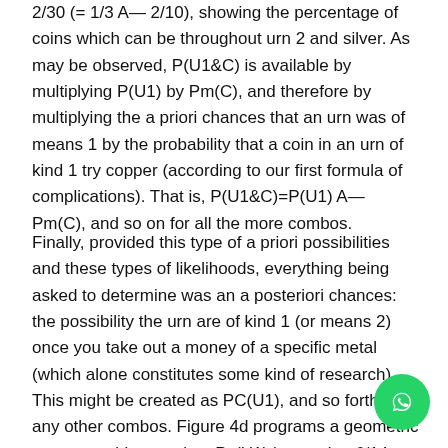2/30 (= 1/3 A— 2/10), showing the percentage of coins which can be throughout urn 2 and silver. As may be observed, P(U1&C) is available by multiplying P(U1) by Pm(C), and therefore by multiplying the a priori chances that an urn was of means 1 by the probability that a coin in an urn of kind 1 try copper (according to our first formula of complications). That is, P(U1&C)=P(U1) A— Pm(C), and so on for all the more combos.
Finally, provided this type of a priori possibilities and these types of likelihoods, everything being asked to determine was an a posteriori chances: the possibility the urn are of kind 1 (or means 2) once you take out a money of a specific metal (which alone constitutes some kind of research). This might be created as PC(U1), and so forth for any other combos. Figure 4d programs a geometric answer to this question: Pc(U1) is equal to 6/14, or even the neighborhood P(U1&C) divided by the amount of the areas P(U1&C) and P(U2&C), which can be comparable to all methods for acquiring a copper coin from an urn of means 1 (6/30) divided by all the methods of getting a copper money